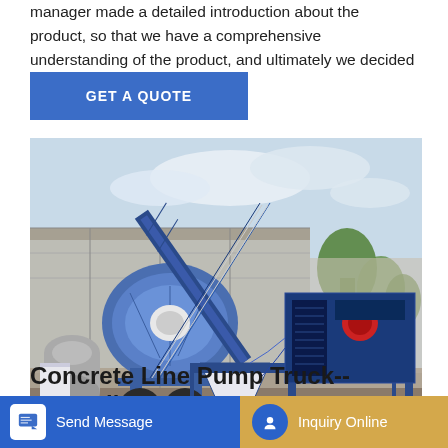manager made a detailed introduction about the product, so that we have a comprehensive understanding of the product, and ultimately we decided to cooperate.
[Figure (other): Blue button with text GET A QUOTE on a blue background]
[Figure (photo): Concrete line pump truck machine in blue and white colors, mounted on wheels, with conveyor belt and engine unit, photographed outdoors at a facility with a warehouse-style building and trees in the background.]
Concrete Line Pump Truck--Daswell Manuf...for sale i...
[Figure (other): Bottom navigation bar with Send Message button (blue) and Inquiry Online button (gold/tan)]